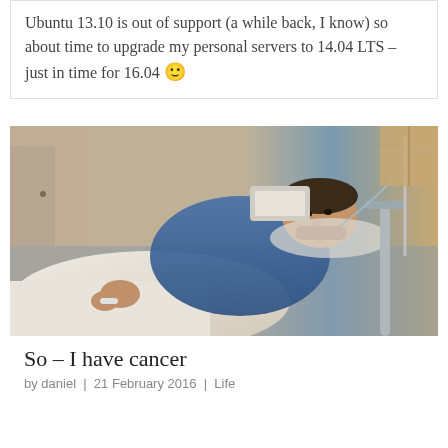Ubuntu 13.10 is out of support (a while back, I know) so about time to upgrade my personal servers to 14.04 LTS – just in time for 16.04 🙂
[Figure (photo): A man lying in a hospital bed wearing a blue hospital gown, with medical equipment visible around him including IV lines. He is looking toward the camera.]
So – I have cancer
by daniel | 21 February 2016 | Life